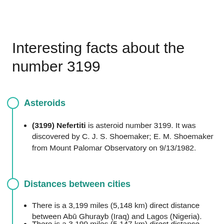Interesting facts about the number 3199
Asteroids
(3199) Nefertiti is asteroid number 3199. It was discovered by C. J. S. Shoemaker; E. M. Shoemaker from Mount Palomar Observatory on 9/13/1982.
Distances between cities
There is a 3,199 miles (5,148 km) direct distance between Abū Ghurayb (Iraq) and Lagos (Nigeria).
There is a 3,199 miles (5,147 km) direct distance